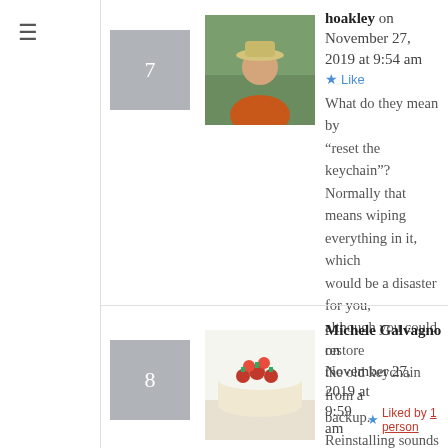7
[Figure (photo): Avatar photo of hoakley - person in orange jacket and hat outdoors]
hoakley on November 27, 2019 at 9:54 am
Like
What do they mean by “reset the keychain”? Normally that means wiping everything in it, which would be a disaster for you, although you could restore the old keychain from a backup.
Reinstalling sounds sensible, although whether it will do any good is another matter! Howard.
8
[Figure (photo): Avatar photo of Michele Galvagno - a cake with strawberries on top]
Michele Galvagno on November 27, 2019 at 9:59 am
Liked by 1 person